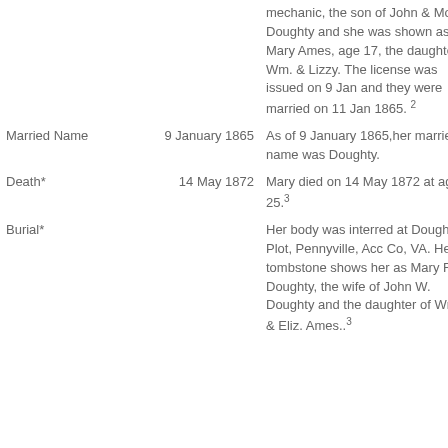| Event | Date | Details |
| --- | --- | --- |
|  |  | mechanic, the son of John & Molly Doughty and she was shown as Mary Ames, age 17, the daughter of Wm. & Lizzy. The license was issued on 9 Jan and they were married on 11 Jan 1865. 2 |
| Married Name | 9 January 1865 | As of 9 January 1865,her married name was Doughty. |
| Death* | 14 May 1872 | Mary died on 14 May 1872 at age 25.3 |
| Burial* |  | Her body was interred at Doughty Plot, Pennyville, Acc Co, VA. Her tombstone shows her as Mary F. Doughty, the wife of John W. Doughty and the daughter of Wm. C. & Eliz. Ames..3 |